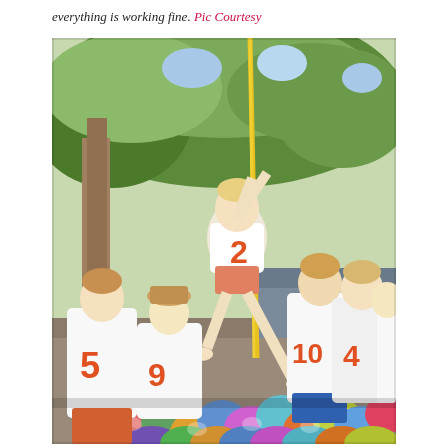everything is working fine. Pic Courtesy
[Figure (photo): Children in white t-shirts with orange numbers (2, 5, 9, 10, 4) playing outdoors. One child swings on a yellow rope over a pile of colorful balloons, while others watch in a garden/park setting with green trees in the background.]